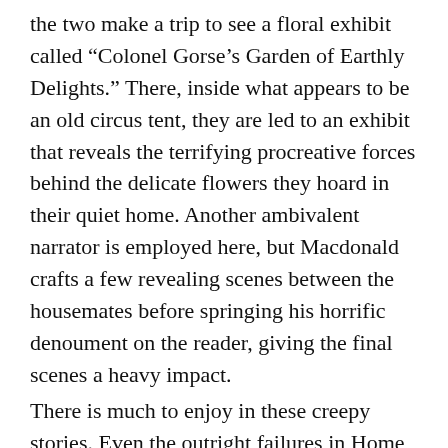the two make a trip to see a floral exhibit called “Colonel Gorse’s Garden of Earthly Delights.” There, inside what appears to be an old circus tent, they are led to an exhibit that reveals the terrifying procreative forces behind the delicate flowers they hoard in their quiet home. Another ambivalent narrator is employed here, but Macdonald crafts a few revealing scenes between the housemates before springing his horrific denoument on the reader, giving the final scenes a heavy impact.
There is much to enjoy in these creepy stories. Even the outright failures in Home – and there are only a couple – have the power to slip in and engrave lingering afterimages in the mind.